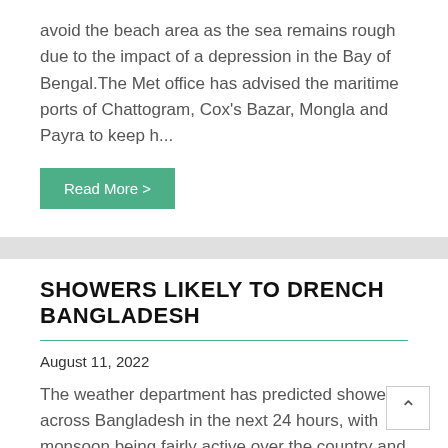avoid the beach area as the sea remains rough due to the impact of a depression in the Bay of Bengal.The Met office has advised the maritime ports of Chattogram, Cox's Bazar, Mongla and Payra to keep h...
Read More >
SHOWERS LIKELY TO DRENCH BANGLADESH
August 11, 2022
The weather department has predicted showers across Bangladesh in the next 24 hours, with monsoon being fairly active over the country and strong elsewhere over the North Bay."Light to moderate rain or thunder showers accompanied by